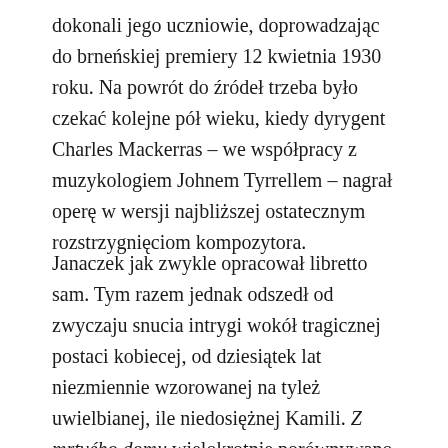dokonali jego uczniowie, doprowadzając do brneńskiej premiery 12 kwietnia 1930 roku. Na powrót do źródeł trzeba było czekać kolejne pół wieku, kiedy dyrygent Charles Mackerras – we współpracy z muzykologiem Johnem Tyrrellem – nagrał operę w wersji najbliższej ostatecznym rozstrzygnięciom kompozytora.
Janaczek jak zwykle opracował libretto sam. Tym razem jednak odszedł od zwyczaju snucia intrygi wokół tragicznej postaci kobiecej, od dziesiątek lat niezmiennie wzorowanej na tyleż uwielbianej, ile niedosiężnej Kamili. Z mrtvého domu wielokrotnie porównywano z